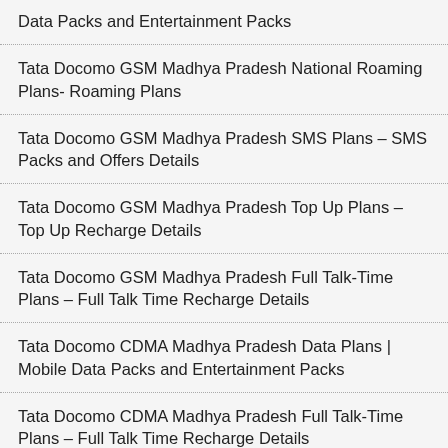Data Packs and Entertainment Packs
Tata Docomo GSM Madhya Pradesh National Roaming Plans- Roaming Plans
Tata Docomo GSM Madhya Pradesh SMS Plans – SMS Packs and Offers Details
Tata Docomo GSM Madhya Pradesh Top Up Plans – Top Up Recharge Details
Tata Docomo GSM Madhya Pradesh Full Talk-Time Plans – Full Talk Time Recharge Details
Tata Docomo CDMA Madhya Pradesh Data Plans | Mobile Data Packs and Entertainment Packs
Tata Docomo CDMA Madhya Pradesh Full Talk-Time Plans – Full Talk Time Recharge Details
Tata Docomo CDMA Madhya Pradesh Special Recharge